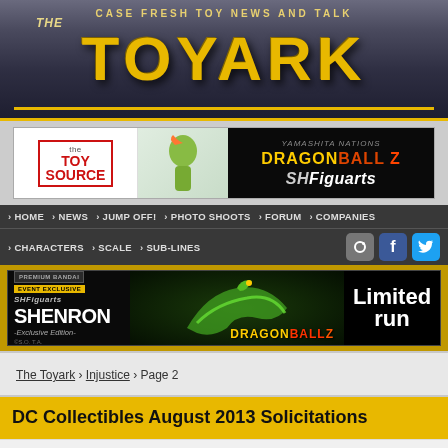THE TOYARK — Case Fresh Toy News and Talk
[Figure (logo): The Toy Source / Dragon Ball Z SH Figuarts advertisement banner]
Navigation: HOME › NEWS › JUMP OFF! › PHOTO SHOOTS › FORUM › COMPANIES › CHARACTERS › SCALE › SUB-LINES
[Figure (infographic): SH Figuarts Shenron Exclusive Edition Premium Bandai Event Exclusive limited run Dragon Ball Z advertisement]
The Toyark › Injustice › Page 2
DC Collectibles August 2013 Solicitations
Posted on May 14, 2013 at 11:20 am by Joe Moore